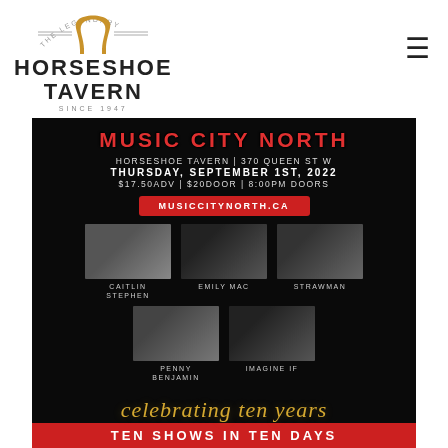[Figure (logo): The Legendary Horseshoe Tavern logo with horseshoe icon and text 'HORSESHOE TAVERN SINCE 1947']
[Figure (infographic): Music City North event poster on black background. Horseshoe Tavern | 370 Queen St W. Thursday, September 1st, 2022. $17.50ADV | $20Door | 8:00PM Doors. Website: musiccitynorth.ca. Artists: Caitlin Stephen, Emily Mac, Strawman, Penny Benjamin, Imagine If. Celebrating ten years – TEN SHOWS IN TEN DAYS.]